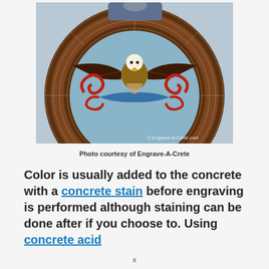[Figure (photo): A person kneeling on a large circular engraved concrete floor medallion featuring an eagle design with red and blue decorative scrollwork, brown brick-pattern border rings. Watermark reads '© Engrave-A-Crete.com']
Photo courtesy of Engrave-A-Crete
Color is usually added to the concrete with a concrete stain before engraving is performed although staining can be done after if you choose to. Using concrete acid
x